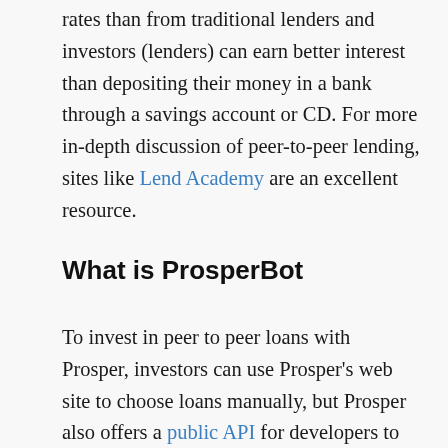rates than from traditional lenders and investors (lenders) can earn better interest than depositing their money in a bank through a savings account or CD. For more in-depth discussion of peer-to-peer lending, sites like Lend Academy are an excellent resource.
What is ProsperBot
To invest in peer to peer loans with Prosper, investors can use Prosper's web site to choose loans manually, but Prosper also offers a public API for developers to invest